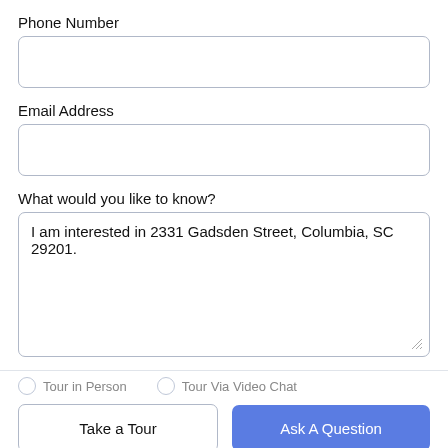Phone Number
[Figure (screenshot): Empty phone number input field with rounded border]
Email Address
[Figure (screenshot): Empty email address input field with rounded border]
What would you like to know?
[Figure (screenshot): Textarea with text: I am interested in 2331 Gadsden Street, Columbia, SC 29201.]
Tour in Person
Tour Via Video Chat
Take a Tour
Ask A Question